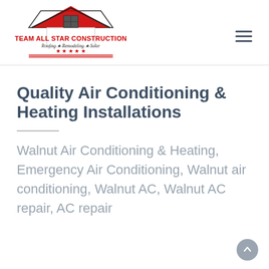[Figure (logo): Team All Star Construction logo with red house/roof graphic, company name in red bold text, tagline 'Roofing ★ Remodeling ★ Solar' in italic, five red stars, and red horizontal lines]
Quality Air Conditioning & Heating Installations
Walnut Air Conditioning & Heating, Emergency Air Conditioning, Walnut air conditioning, Walnut AC, Walnut AC repair, AC repair